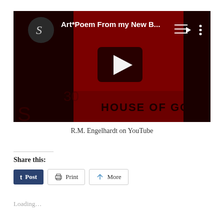[Figure (screenshot): YouTube video thumbnail showing a dark red artistic image with text 'HOUSE OF GOD' and a play button in the center. The video title reads 'Art*Poem From my New B...' with a small circular profile picture on the left and a menu icon and three-dot icon on the right.]
R.M. Engelhardt on YouTube
Share this:
Post  Print  More
Loading...